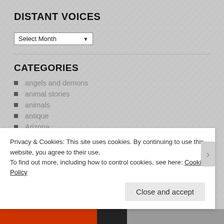DISTANT VOICES
Select Month
CATEGORIES
angels and demons
animal stories
animals
antique
Arizona
art
awards
Privacy & Cookies: This site uses cookies. By continuing to use this website, you agree to their use. To find out more, including how to control cookies, see here: Cookie Policy
Close and accept